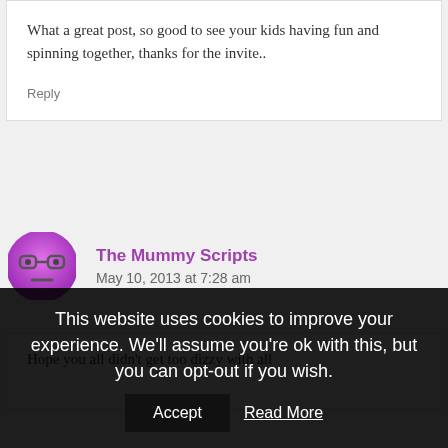What a great post, so good to see your kids having fun and spinning together, thanks for the invite..
Reply
The Mummy Scripts
May 10, 2013 at 7:28 am
Hope you all didn't get too dizzy with all
This website uses cookies to improve your experience. We'll assume you're ok with this, but you can opt-out if you wish. Accept Read More